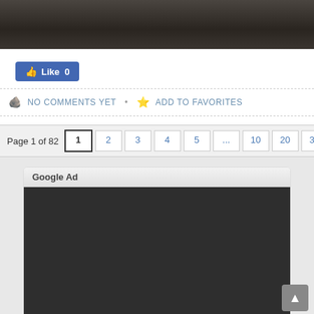[Figure (photo): Partial view of a motorcycle engine, dark background, cropped at top]
Like 0
NO COMMENTS YET • ADD TO FAVORITES
Page 1 of 82  1  2  3  4  5  ...  10  20  30  ...  »  Last »
Google Ad
[Figure (other): Google Ad dark placeholder block]